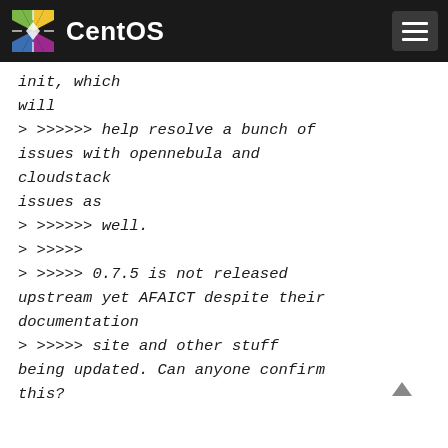CentOS
init, which
will
> >>>>>> help resolve a bunch of issues with opennebula and cloudstack
issues as
> >>>>>> well.
> >>>>>
> >>>>> 0.7.5 is not released upstream yet AFAICT despite their documentation
> >>>>> site and other stuff being updated. Can anyone confirm this?